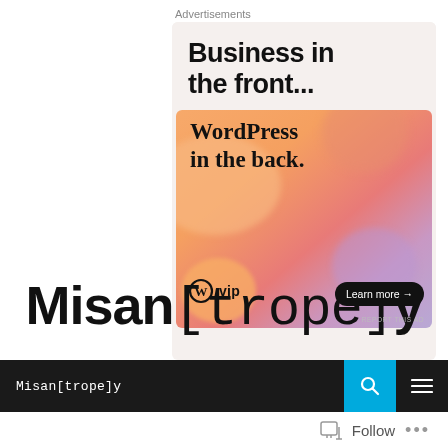Advertisements
[Figure (other): WordPress VIP advertisement banner. Top section on light gray background with bold text 'Business in the front...' Below, colorful gradient section with orange/pink/purple blobs, text 'WordPress in the back.', WordPress VIP logo, and 'Learn more' button. Report This Ad link at bottom right.]
Misan[trope]y
Misan[trope]y navigation bar with search and menu icons, Follow button and more options